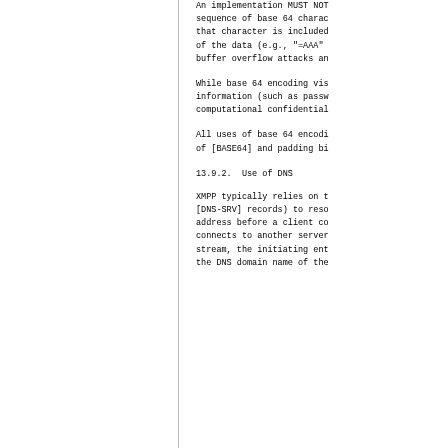An implementation MUST NOT sequence of base 64 characters that character is included of the data (e.g., "=AAA" buffer overflow attacks ar
While base 64 encoding vis information (such as passw computational confidential
All uses of base 64 encodi of [BASE64] and padding bi
13.9.2.  Use of DNS
XMPP typically relies on t [DNS-SRV] records) to reso address before a client co connects to another server stream, the initiating ent the DNS domain name of the